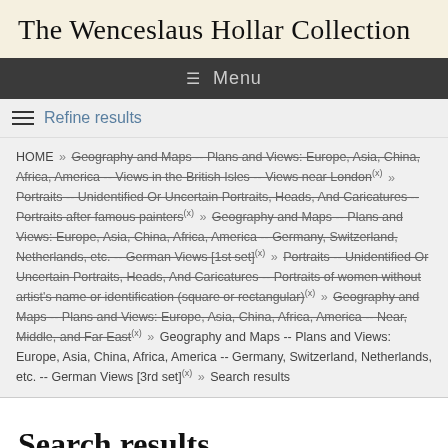The Wenceslaus Hollar Collection
≡ Menu
Refine results
HOME » Geography and Maps -- Plans and Views: Europe, Asia, China, Africa, America -- Views in the British Isles -- Views near London (x) » Portraits -- Unidentified Or Uncertain Portraits, Heads, And Caricatures -- Portraits after famous painters (x) » Geography and Maps -- Plans and Views: Europe, Asia, China, Africa, America -- Germany, Switzerland, Netherlands, etc. -- German Views [1st set] (x) » Portraits -- Unidentified Or Uncertain Portraits, Heads, And Caricatures -- Portraits of women without artist's name or identification (square or rectangular) (x) » Geography and Maps -- Plans and Views: Europe, Asia, China, Africa, America -- Near, Middle, and Far East (x) » Geography and Maps -- Plans and Views: Europe, Asia, China, Africa, America -- Germany, Switzerland, Netherlands, etc. -- German Views [3rd set] (x) » Search results
Search results